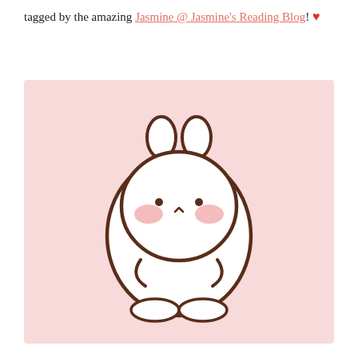tagged by the amazing Jasmine @ Jasmine's Reading Blog! ♥
[Figure (illustration): Cute kawaii-style white cartoon bunny (Molang) on a light pink background. The bunny is round and white with small ears on top, rosy pink cheeks, small dark dot eyes, a small nose, and two curved lines for hands/paws at the bottom.]